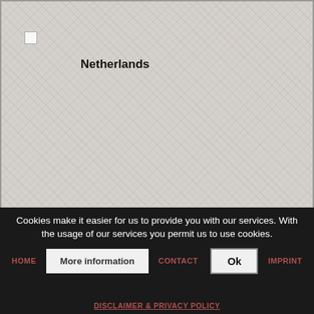[Figure (map): A map view showing the Netherlands region label on a light grey tiled map background with a small white checkbox marker in the upper-left area of the map.]
Cookies make it easier for us to provide you with our services. With the usage of our services you permit us to use cookies.
HOME   More information   CONTACT   Ok   IMPRINT
DISCLAIMER & PRIVACY POLICY